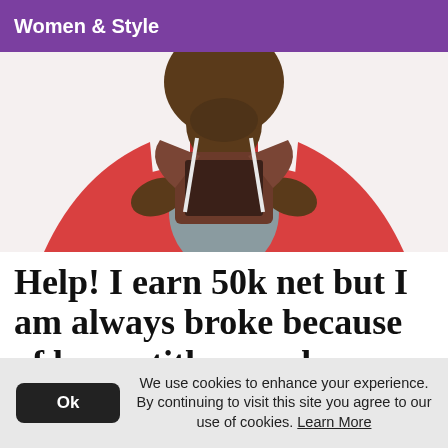Women & Style
[Figure (photo): A man in a red hoodie holding open an empty brown wallet, showing the empty interior to the camera. White background.]
Help! I earn 50k net but I am always broke because of loans, tithes, and bombshee...
We use cookies to enhance your experience. By continuing to visit this site you agree to our use of cookies. Learn More